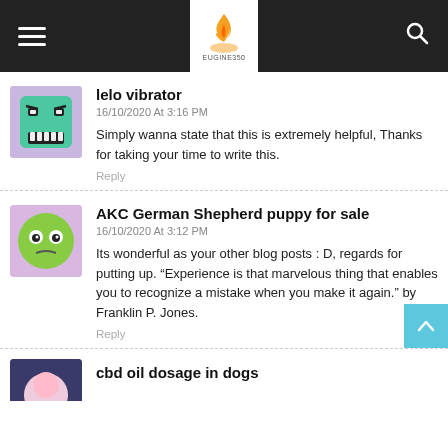Navigation bar with hamburger menu, EUGINE350 logo, and search icon
lelo vibrator
16/10/2020 At 3:16 PM
Simply wanna state that this is extremely helpful, Thanks for taking your time to write this.
Reply
AKC German Shepherd puppy for sale
16/10/2020 At 3:12 PM
Its wonderful as your other blog posts : D, regards for putting up. “Experience is that marvelous thing that enables you to recognize a mistake when you make it again.” by Franklin P. Jones.
Reply
cbd oil dosage in dogs